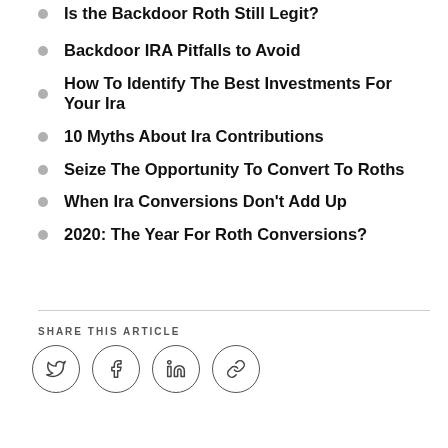Backdoor IRA Pitfalls to Avoid
How To Identify The Best Investments For Your Ira
10 Myths About Ira Contributions
Seize The Opportunity To Convert To Roths
When Ira Conversions Don't Add Up
2020: The Year For Roth Conversions?
SHARE THIS ARTICLE